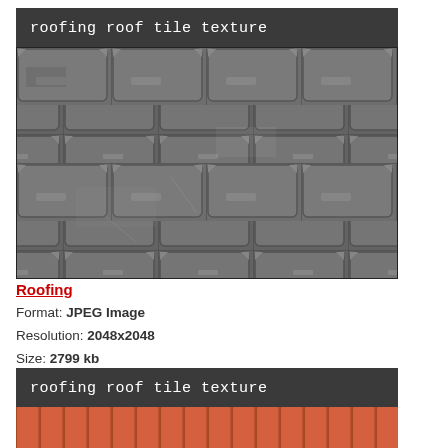[Figure (photo): Dark gray roofing roof tile texture image with header bar reading 'roofing roof tile texture'. Shows rows of dark slate-colored square roof tiles photographed close up in black and white/grayscale.]
Roofing
Format: JPEG Image
Resolution: 2048x2048
Size: 2799 kb
[Figure (photo): Second card showing 'roofing roof tile texture' header bar with a partial view of orange/terracotta colored roof tiles at the bottom.]